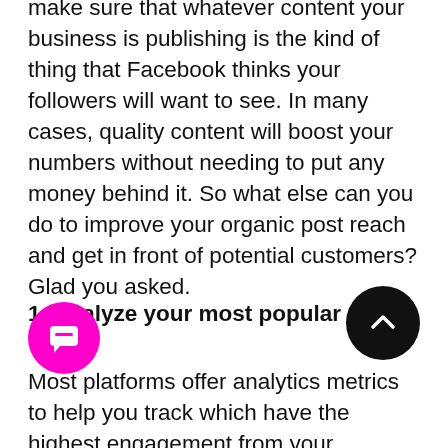make sure that whatever content your business is publishing is the kind of thing that Facebook thinks your followers will want to see. In many cases, quality content will boost your numbers without needing to put any money behind it. So what else can you do to improve your organic post reach and get in front of potential customers? Glad you asked.
1. Analyze your most popular posts
Most platforms offer analytics metrics to help you track which have the highest engagement from your followers.